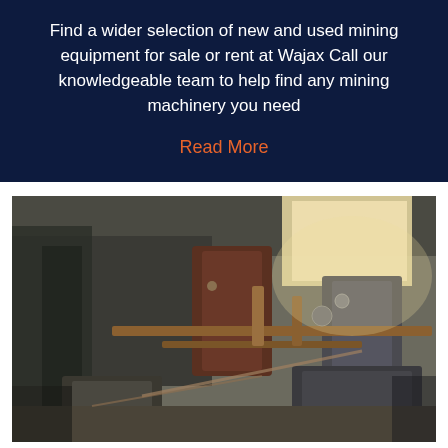Find a wider selection of new and used mining equipment for sale or rent at Wajax Call our knowledgeable team to help find any mining machinery you need
Read More
[Figure (photo): Interior of a mining facility showing industrial machinery and equipment including pipes, tanks, pumps and mechanical components in a dusty warehouse-like setting with light coming through a window or opening in the background.]